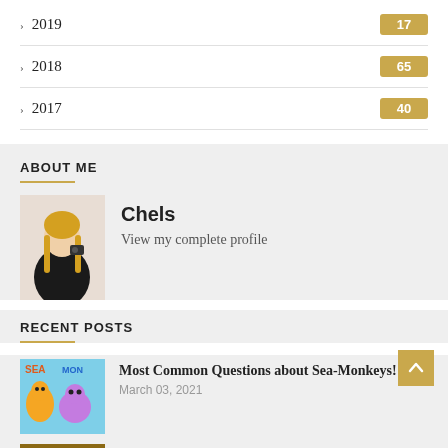2019  17
2018  65
2017  40
ABOUT ME
[Figure (photo): Photo of Chels, a woman with long blonde hair wearing a black outfit, holding a camera]
Chels
View my complete profile
RECENT POSTS
[Figure (photo): Sea-Monkeys product image with colorful cartoon sea creatures on teal background]
Most Common Questions about Sea-Monkeys!
March 03, 2021
[Figure (photo): Camp counsellor image with warm golden tones]
The Ultimate Camp Counsellor Packing List